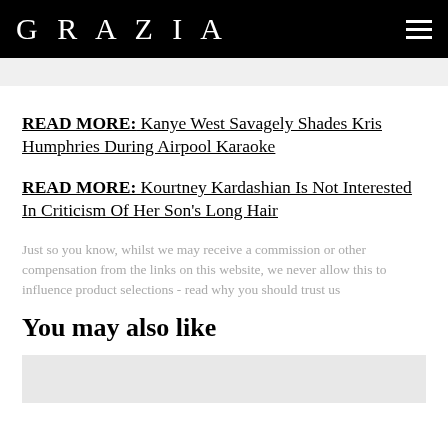GRAZIA
READ MORE: Kanye West Savagely Shades Kris Humphries During Airpool Karaoke
READ MORE: Kourtney Kardashian Is Not Interested In Criticism Of Her Son's Long Hair
Just so you know, whilst we may receive a commission or other compensation from the links on this website, we never allow this to influence product selections - read why you should trust us
You may also like